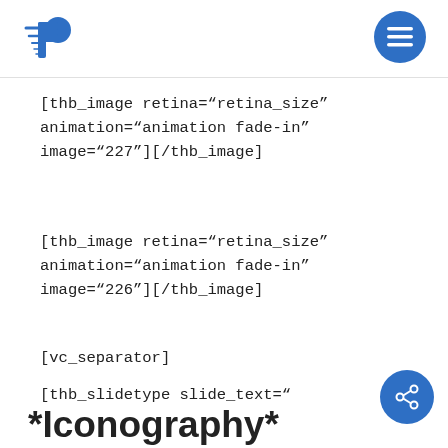Priceless logo header with menu button
[thb_image retina="retina_size" animation="animation fade-in" image="227"][/thb_image]
[thb_image retina="retina_size" animation="animation fade-in" image="226"][/thb_image]
[vc_separator]
[thb_slidetype slide_text="
*Iconography*